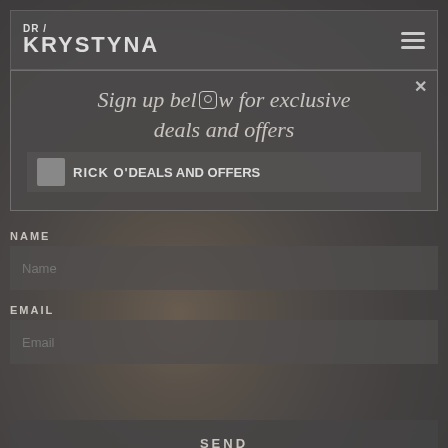DR KRYSTYNA
Sign up below for exclusive deals and offers
RICK O'...
NAME
Name
EMAIL
Email
SEND